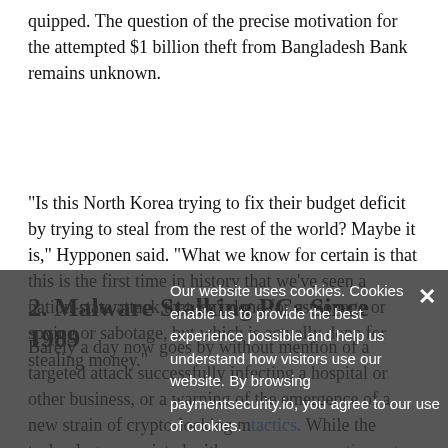quipped. The question of the precise motivation for the attempted $1 billion theft from Bangladesh Bank remains unknown.
"Is this North Korea trying to fix their budget deficit by trying to steal from the rest of the world? Maybe it is," Hypponen said. "What we know for certain is that this is the first time in history that we've seen a nation-state attack that isn't done for espionage or spying or sabotage, but which is actually done for stealing money."
2. Malware Stalking PCs Since 1989
Barely a day now goes by without mention of a targeted attack successfully infecting a hospital or other business, or a warning of the emergence of a new strain of crypto-locking malware tactics. While the technology associated with ransomware continues to evolve - demanding payment via bitcoins being but one more recent
Our website uses cookies. Cookies enable us to provide the best experience possible and help us understand how visitors use our website. By browsing paymentsecurity.io, you agree to our use of cookies.